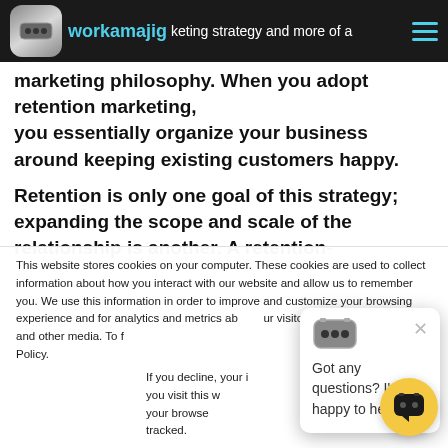workamajig — it's less of a marketing strategy and more of a marketing philosophy. When you adopt retention marketing,
you essentially organize your business around keeping existing customers happy.
Retention is only one goal of this strategy; expanding the scope and scale of the relationship is another. A retention-
This website stores cookies on your computer. These cookies are used to collect information about how you interact with our website and allow us to remember you. We use this information in order to improve and customize your browsing experience and for analytics and metrics about our visitors both on this website and other media. To find out more about the cookies we use, see our Privacy Policy.
If you decline, your information won't be tracked when you visit this website. A single cookie will be used in your browser to remember your preference not to be tracked.
[Figure (screenshot): Chat popup with robot icon, close X, and text 'Got any questions? I'm happy to help.']
[Figure (illustration): Yellow circular chat bubble button in bottom right corner]